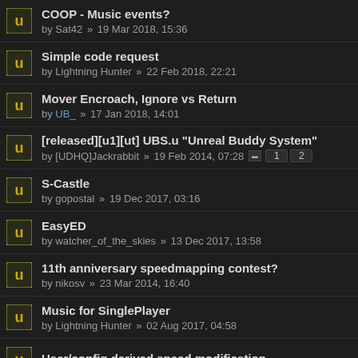COOP - Music events? by Sat42 » 19 Mar 2018, 15:36
Simple code request by Lightning Hunter » 22 Feb 2018, 22:21
Mover Encroach, Ignore vs Return by UB_ » 17 Jan 2018, 14:01
[released][u1][ut] UBS.u "Unreal Buddy System" by [UDHQ]Jackrabbit » 19 Feb 2014, 07:28 pages: 1 2
S-Castle by gopostal » 19 Dec 2017, 03:16
EasyED by watcher_of_the_skies » 13 Dec 2017, 13:58
11th anniversary speedmapping contest? by nikosv » 23 Mar 2014, 16:40
Music for SinglePlayer by Lightning Hunter » 02 Aug 2017, 04:58
User/config derived speed modification